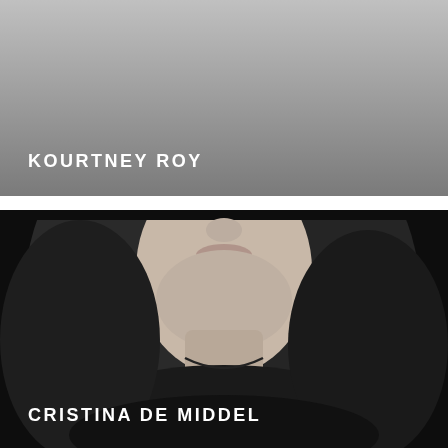[Figure (photo): Black and white gradient panel — light gray at top fading to medium gray — with the name KOURTNEY ROY in white uppercase letters at the lower left.]
KOURTNEY ROY
[Figure (photo): Black and white portrait photograph of a woman (Cristina de Middel) with long dark wavy hair, smiling slightly, wearing a dark top and a delicate necklace, shot against a nearly black background. Her face is cropped at the forehead. Her name appears in white uppercase letters at the lower left.]
CRISTINA DE MIDDEL